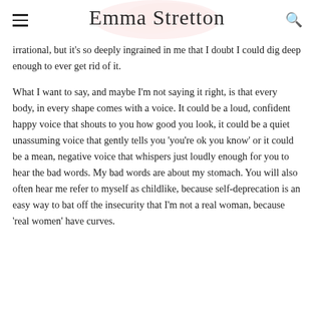Emma Stretton
irrational, but it's so deeply ingrained in me that I doubt I could dig deep enough to ever get rid of it.
What I want to say, and maybe I'm not saying it right, is that every body, in every shape comes with a voice. It could be a loud, confident happy voice that shouts to you how good you look, it could be a quiet unassuming voice that gently tells you 'you're ok you know' or it could be a mean, negative voice that whispers just loudly enough for you to hear the bad words. My bad words are about my stomach. You will also often hear me refer to myself as childlike, because self-deprecation is an easy way to bat off the insecurity that I'm not a real woman, because 'real women' have curves.